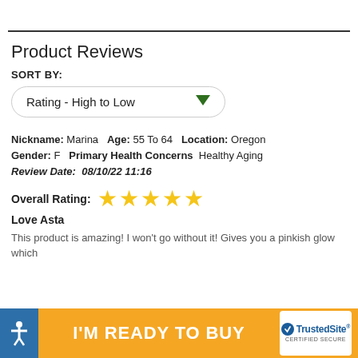Product Reviews
SORT BY:
Rating - High to Low
Nickname: Marina  Age: 55 To 64  Location: Oregon  Gender: F  Primary Health Concerns Healthy Aging  Review Date: 08/10/22 11:16
Overall Rating: ★★★★★
Love Asta
This product is amazing! I won't go without it! Gives you a pinkish glow which
I'M READY TO BUY